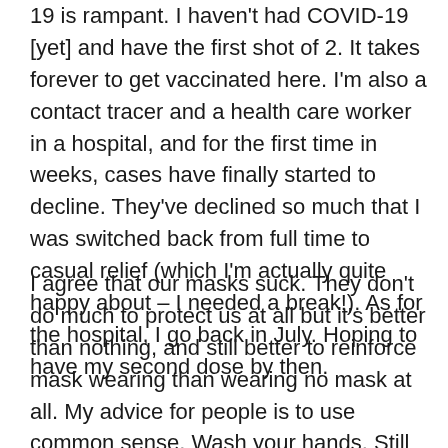19 is rampant. I haven't had COVID-19 [yet] and have the first shot of 2. It takes forever to get vaccinated here. I'm also a contact tracer and a health care worker in a hospital, and for the first time in weeks, cases have finally started to decline. They've declined so much that I was switched back from full time to casual relief (which I'm actually quite happy about – I needed a break!). As for the hospital, I go back in July. Hoping to have my second dose by then.
I agree that our masks suck. They don't do much to protect us at all but it's better than nothing, and still better to reinforce mask wearing than wearing no mask at all. My advice for people is to use common sense. Wash your hands. Still wear a mask. Keep a 2m distance from people.